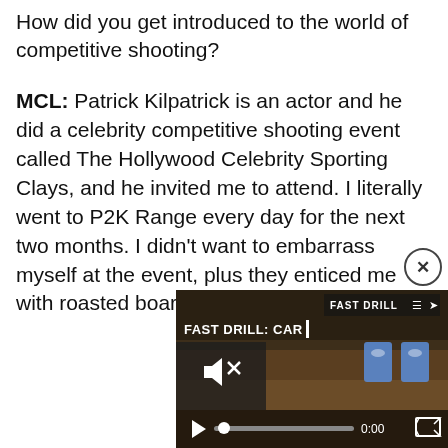How did you get introduced to the world of competitive shooting?
MCL: Patrick Kilpatrick is an actor and he did a celebrity competitive shooting event called The Hollywood Celebrity Sporting Clays, and he invited me to attend. I literally went to P2K Range every day for the next two months. I didn't want to embarrass myself at the event, plus they enticed me with roasted boar. [Laughs.]
[Figure (screenshot): Video player screenshot showing 'FAST DRILL: CAR...' with video controls including mute button, play button, progress bar showing 0:00, and fullscreen button. Two blue target icons visible. Background shows outdoor shooting range scene.]